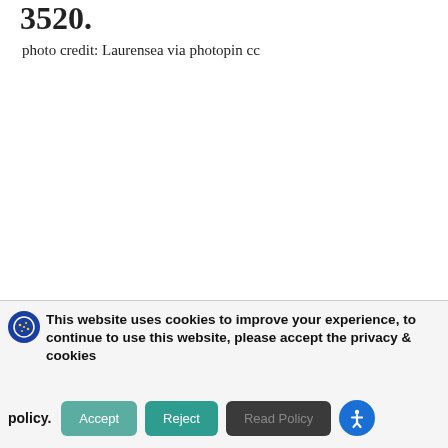3520.
photo credit: Laurensea via photopin cc
This website uses cookies to improve your experience, to continue to use this website, please accept the privacy & cookies policy.